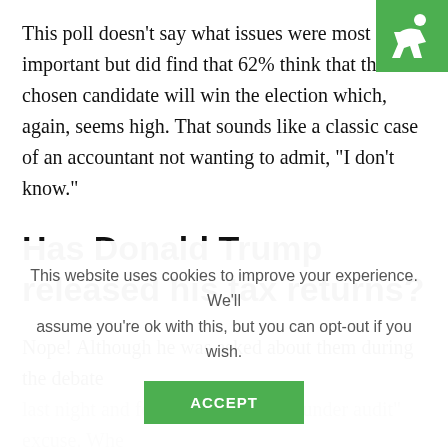[Figure (logo): Green square logo with white accessibility icon in top-right corner]
This poll doesn't say what issues were most important but did find that 62% think that their chosen candidate will win the election which, again, seems high. That sounds like a classic case of an accountant not wanting to admit, "I don't know."
Has Donald Trump released his tax returns?
Nope! Although he was asked about them during the debate last night and fell back on the "I'm under audit" excuse. Whe...
This website uses cookies to improve your experience. We'll assume you're ok with this, but you can opt-out if you wish.